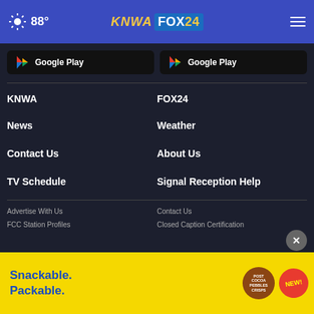88° KNWA FOX24
[Figure (logo): Google Play badge left]
[Figure (logo): Google Play badge right]
KNWA
FOX24
News
Weather
Contact Us
About Us
TV Schedule
Signal Reception Help
Advertise With Us
Contact Us
FCC Station Profiles
Closed Caption Certification
[Figure (photo): Snackable. Packable. advertisement banner with Cocoa Pebbles Crisps NEW! branding]